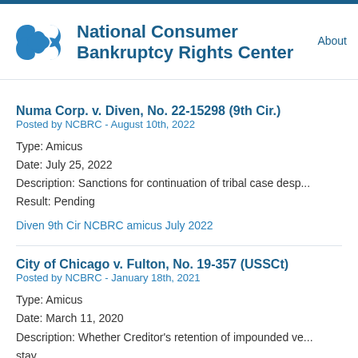National Consumer Bankruptcy Rights Center
Numa Corp. v. Diven, No. 22-15298 (9th Cir.)
Posted by NCBRC - August 10th, 2022
Type: Amicus
Date: July 25, 2022
Description: Sanctions for continuation of tribal case desp...
Result: Pending
Diven 9th Cir NCBRC amicus July 2022
City of Chicago v. Fulton, No. 19-357 (USSCt)
Posted by NCBRC - January 18th, 2021
Type: Amicus
Date: March 11, 2020
Description: Whether Creditor's retention of impounded ve...
stay.
Result: Judgment vacated and remanded, January 14, 20...